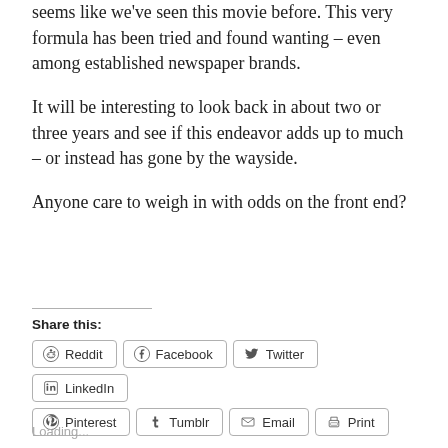seems like we've seen this movie before. This very formula has been tried and found wanting – even among established newspaper brands.
It will be interesting to look back in about two or three years and see if this endeavor adds up to much – or instead has gone by the wayside.
Anyone care to weigh in with odds on the front end?
Share this:
Reddit  Facebook  Twitter  LinkedIn  Pinterest  Tumblr  Email  Print
Loading...